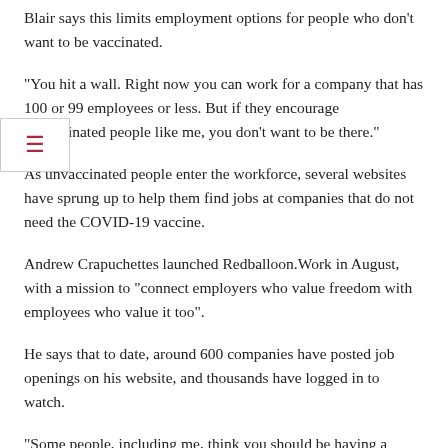Blair says this limits employment options for people who don't want to be vaccinated.
“You hit a wall. Right now you can work for a company that has 100 or 99 employees or less. But if they encourage unvaccinated people like me, you don’t want to be there.”
As unvaccinated people enter the workforce, several websites have sprung up to help them find jobs at companies that do not need the COVID-19 vaccine.
Andrew Crapuchettes launched Redballoon.Work in August, with a mission to “connect employers who value freedom with employees who value it too”.
He says that to date, around 600 companies have posted job openings on his website, and thousands have logged in to watch.
“Some people, including me, think you should be having a